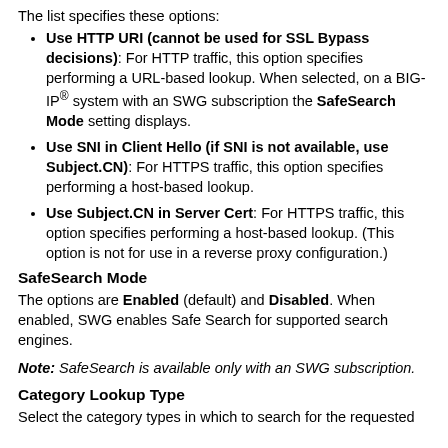The list specifies these options:
Use HTTP URI (cannot be used for SSL Bypass decisions): For HTTP traffic, this option specifies performing a URL-based lookup. When selected, on a BIG-IP® system with an SWG subscription the SafeSearch Mode setting displays.
Use SNI in Client Hello (if SNI is not available, use Subject.CN): For HTTPS traffic, this option specifies performing a host-based lookup.
Use Subject.CN in Server Cert: For HTTPS traffic, this option specifies performing a host-based lookup. (This option is not for use in a reverse proxy configuration.)
SafeSearch Mode
The options are Enabled (default) and Disabled. When enabled, SWG enables Safe Search for supported search engines.
Note: SafeSearch is available only with an SWG subscription.
Category Lookup Type
Select the category types in which to search for the requested